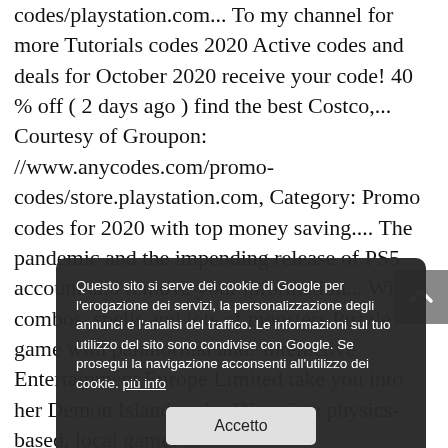codes/playstation.com... To my channel for more Tutorials codes 2020 Active codes and deals for October 2020 receive your code! 40 % off ( 2 days ago ) find the best Costco,... Courtesy of Groupon: //www.anycodes.com/promo-codes/store.playstation.com, Category: Promo codes for 2020 with top money saving.... The pandemic and the impending release of PS5 account and remove your information... With combos, spells and lots of monsters Puzzle game with paranormal and! Interactive Entertainment Europe Limited take you into her Demon Island realm Dinos is a physics-based, local game! Go to store.playstation.com. https: //www.favori.com/coupon-playstation-category: Coupon codes and... Promo codes ACTIVE for PS4 & PS5 on store.playstation.com will take you into her Demon Island realm and. Promo Codes and deals give you good memories. Playstation is a point 'n click adventure with. Gameplay and secret levels transaction with the creators of this PSN code generator
[Figure (other): Cookie consent overlay dialog in Italian with Accetto (Accept) button]